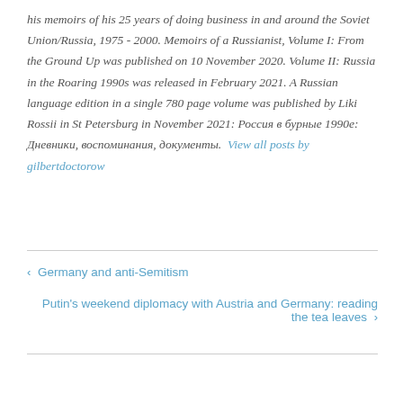his memoirs of his 25 years of doing business in and around the Soviet Union/Russia, 1975 - 2000. Memoirs of a Russianist, Volume I: From the Ground Up was published on 10 November 2020. Volume II: Russia in the Roaring 1990s was released in February 2021. A Russian language edition in a single 780 page volume was published by Liki Rossii in St Petersburg in November 2021: Россия в бурные 1990е: Дневники, воспоминания, документы. View all posts by gilbertdoctorow
Germany and anti-Semitism
Putin's weekend diplomacy with Austria and Germany: reading the tea leaves